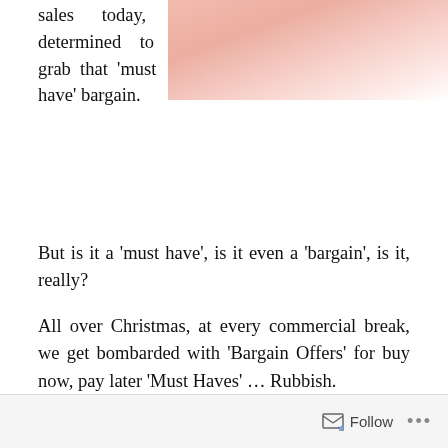[Figure (photo): Blurred pinkish/reddish photo visible in upper right portion of the page]
sales today, determined to grab that 'must have' bargain.
But is it a 'must have', is it even a 'bargain', is it, really?
All over Christmas, at every commercial break, we get bombarded with 'Bargain Offers' for buy now, pay later 'Must Haves' … Rubbish.
Happiness stems from who you are, and not from what you own. That nice new iPad Mini 3 or iPhone 6 that you have been showing off, will very soon be yesterdays toy, and the next big 'must have' thing will come along to take its place.
Follow ...